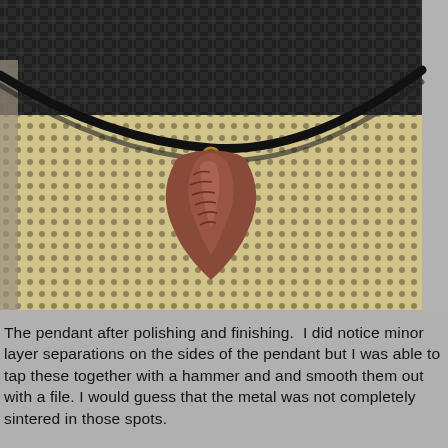[Figure (photo): Close-up photograph of a copper/bronze arrowhead-shaped pendant hanging on a black cord/rope necklace against a textured perforated beige mat background with dark woven fabric visible at the top.]
The pendant after polishing and finishing.  I did notice minor layer separations on the sides of the pendant but I was able to tap these together with a hammer and and smooth them out with a file.  I would guess that the metal was not completely sintered in those spots.